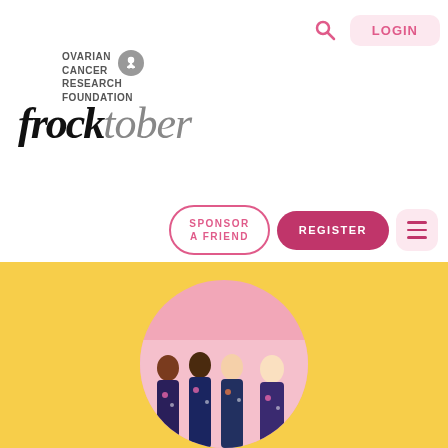LOGIN
[Figure (logo): Frocktober logo with Ovarian Cancer Research Foundation text and ribbon icon, stylized serif/decorative font reading 'frocktober']
SPONSOR A FRIEND
REGISTER
[Figure (illustration): Yellow background section with circular cropped illustration showing four diverse women in floral dresses on a pink background]